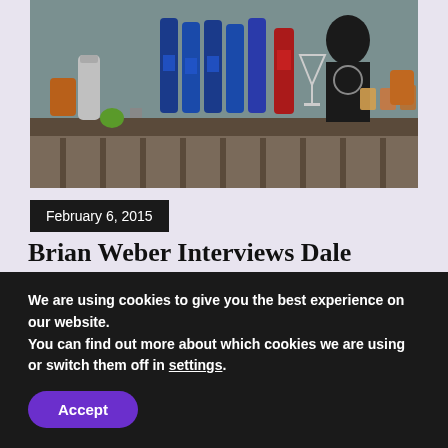[Figure (photo): Bar scene with multiple bottles of spirits including blue Pinnacle vodka bottles, red bottles, a bartender in dark uniform visible in background, cocktail glasses and bar equipment on counter]
February 6, 2015
Brian Weber Interviews Dale DeGroff
Brian Weber over at the Bartender Journey podcast has just posted highlights of his interview
We are using cookies to give you the best experience on our website.
You can find out more about which cookies we are using or switch them off in settings.
Accept